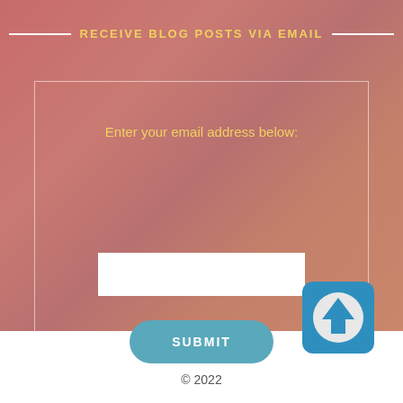RECEIVE BLOG POSTS VIA EMAIL
Enter your email address below:
[Figure (screenshot): Email input field (white rectangle) and a teal rounded SUBMIT button inside a bordered form box]
[Figure (logo): Blue rounded-square icon with a white circle containing a blue upward arrow]
© 2022